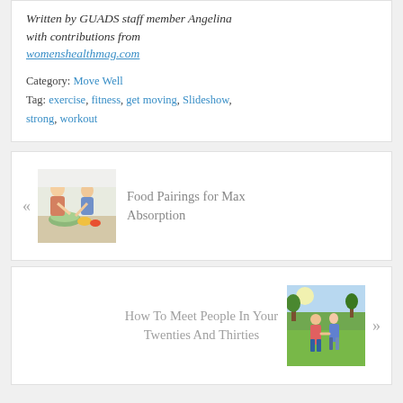Written by GUADS staff member Angelina with contributions from womenshealthmag.com
Category: Move Well
Tag: exercise, fitness, get moving, Slideshow, strong, workout
[Figure (photo): Two women in a kitchen with salad and vegetables]
Food Pairings for Max Absorption
[Figure (photo): Two people holding hands walking outdoors in a park]
How To Meet People In Your Twenties And Thirties